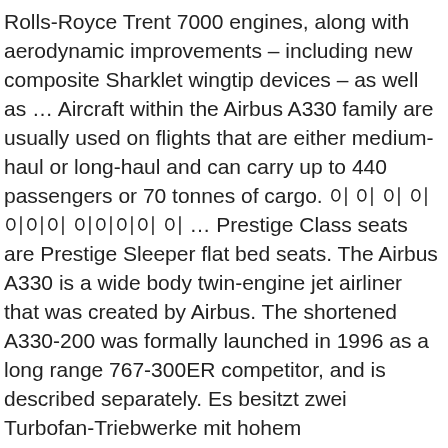Rolls-Royce Trent 7000 engines, along with aerodynamic improvements – including new composite Sharklet wingtip devices – as well as ... Aircraft within the Airbus A330 family are usually used on flights that are either medium-haul or long-haul and can carry up to 440 passengers or 70 tonnes of cargo. 이 이 이 이이이이 이이이이 이 ... Prestige Class seats are Prestige Sleeper flat bed seats. The Airbus A330 is a wide body twin-engine jet airliner that was created by Airbus. The shortened A330-200 was formally launched in 1996 as a long range 767-300ER competitor, and is described separately. Es besitzt zwei Turbofan-Triebwerke mit hohem Nebenstromverhältnis und wie alle modernen Verkehrsflugzeuge ein Zweipersonencockpit. Airbus A330-300 features and seating plan. The source data is in Flight International, pp. https://www.seatmaestro.com/.../thai-airways-airbus-